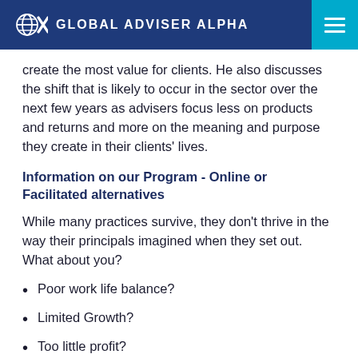GLOBAL ADVISER ALPHA
create the most value for clients. He also discusses the shift that is likely to occur in the sector over the next few years as advisers focus less on products and returns and more on the meaning and purpose they create in their clients' lives.
Information on our Program - Online or Facilitated alternatives
While many practices survive, they don't thrive in the way their principals imagined when they set out. What about you?
Poor work life balance?
Limited Growth?
Too little profit?